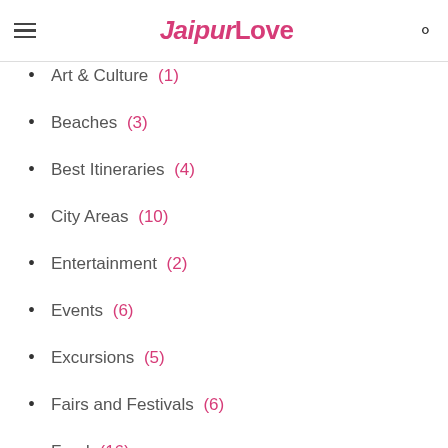JaipurLove
Art & Culture (1)
Beaches (3)
Best Itineraries (4)
City Areas (10)
Entertainment (2)
Events (6)
Excursions (5)
Fairs and Festivals (6)
Food (16)